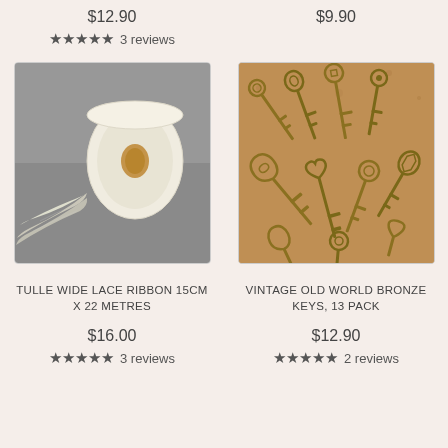$12.90
★★★★★ 3 reviews
$9.90
[Figure (photo): A roll of white/cream tulle wide lace ribbon on a grey background, with lace fabric unrolled in front]
[Figure (photo): A collection of vintage old world bronze skeleton keys arranged on a cork board surface, 13 assorted decorative keys]
TULLE WIDE LACE RIBBON 15CM X 22 METRES
VINTAGE OLD WORLD BRONZE KEYS, 13 PACK
$16.00
★★★★★ 3 reviews
$12.90
★★★★★ 2 reviews